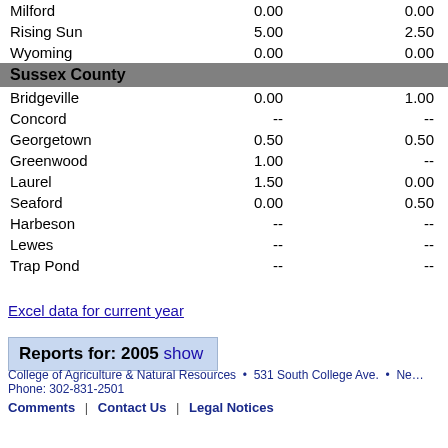| Location | Col1 | Col2 |
| --- | --- | --- |
| Milford | 0.00 | 0.00 |
| Rising Sun | 5.00 | 2.50 |
| Wyoming | 0.00 | 0.00 |
| Sussex County |  |  |
| Bridgeville | 0.00 | 1.00 |
| Concord | -- | -- |
| Georgetown | 0.50 | 0.50 |
| Greenwood | 1.00 | -- |
| Laurel | 1.50 | 0.00 |
| Seaford | 0.00 | 0.50 |
| Harbeson | -- | -- |
| Lewes | -- | -- |
| Trap Pond | -- | -- |
Excel data for current year
Reports for: 2005 show
College of Agriculture & Natural Resources • 531 South College Ave. • Ne… Phone: 302-831-2501 Comments | Contact Us | Legal Notices